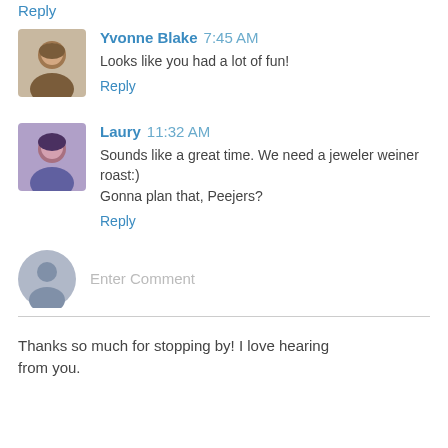Reply
Yvonne Blake 7:45 AM
Looks like you had a lot of fun!
Reply
Laury 11:32 AM
Sounds like a great time. We need a jeweler weiner roast:) Gonna plan that, Peejers?
Reply
Enter Comment
Thanks so much for stopping by! I love hearing from you.